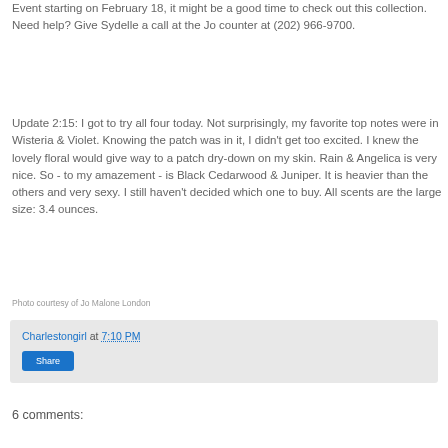Event starting on February 18, it might be a good time to check out this collection. Need help? Give Sydelle a call at the Jo counter at (202) 966-9700.
Update 2:15: I got to try all four today. Not surprisingly, my favorite top notes were in Wisteria & Violet. Knowing the patch was in it, I didn't get too excited. I knew the lovely floral would give way to a patch dry-down on my skin. Rain & Angelica is very nice. So - to my amazement - is Black Cedarwood & Juniper. It is heavier than the others and very sexy. I still haven't decided which one to buy. All scents are the large size: 3.4 ounces.
Photo courtesy of Jo Malone London
Charlestongirl at 7:10 PM
Share
6 comments: